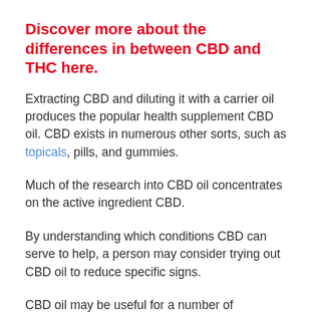Discover more about the differences in between CBD and THC here.
Extracting CBD and diluting it with a carrier oil produces the popular health supplement CBD oil. CBD exists in numerous other sorts, such as topicals, pills, and gummies.
Much of the research into CBD oil concentrates on the active ingredient CBD.
By understanding which conditions CBD can serve to help, a person may consider trying out CBD oil to reduce specific signs.
CBD oil may be useful for a number of